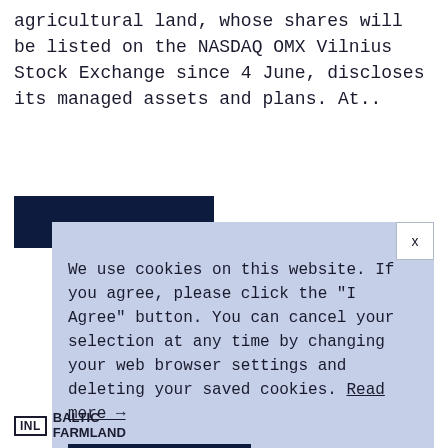agricultural land, whose shares will be listed on the NASDAQ OMX Vilnius Stock Exchange since 4 June, discloses its managed assets and plans. At..
[Figure (other): Dark navy blue rectangular banner element, partially obscured]
We use cookies on this website. If you agree, please click the "I Agree" button. You can cancel your selection at any time by changing your web browser settings and deleting your saved cookies. Read more →
I agree
[Figure (logo): Baltic Farmland logo with INL monogram in a box and text BALTIC FARMLAND]